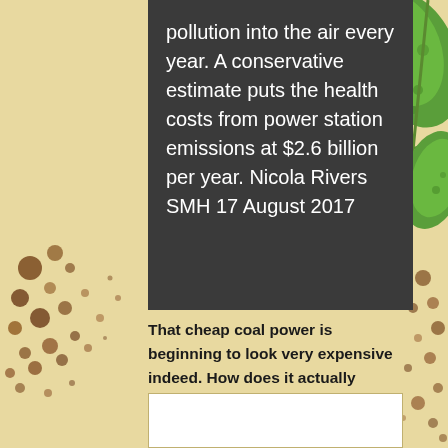pollution into the air every year. A conservative estimate puts the health costs from power station emissions at $2.6 billion per year. Nicola Rivers SMH 17 August 2017
That cheap coal power is beginning to look very expensive indeed. How does it actually stack up against renewables like solar, wind and thermal?
[Figure (illustration): Decorative green plant/vine illustration in top right corner]
[Figure (illustration): Decorative brown soil/dirt dots pattern in bottom left and right areas]